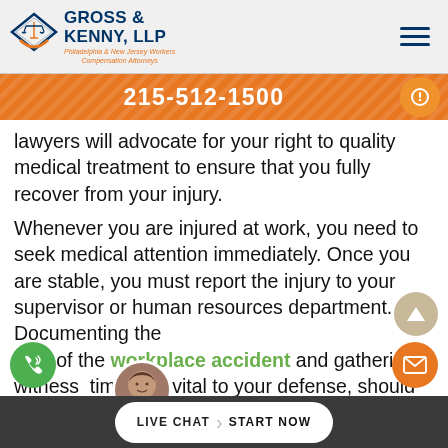[Figure (logo): Gross & Kenny LLP logo with diamond shape, scales of justice icon, and text 'Philadelphia & New Jersey Workers Compensation Attorneys']
215-512-1500
lawyers will advocate for your right to quality medical treatment to ensure that you fully recover from your injury.
Whenever you are injured at work, you need to seek medical attention immediately. Once you are stable, you must report the injury to your supervisor or human resources department. Documenting the s of the workplace accident and gatherin witness timony is vital to your defense, should
LIVE CHAT  START NOW